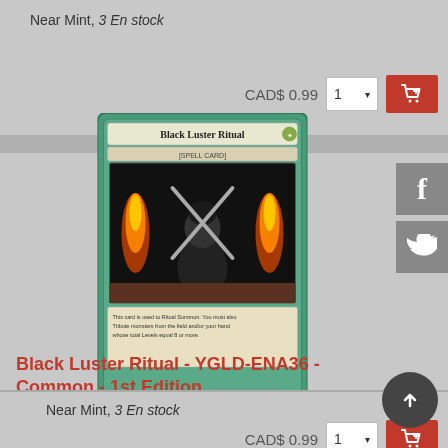Near Mint, 3 En stock
CAD$ 0.99
[Figure (illustration): Yu-Gi-Oh trading card: Black Luster Ritual - YGLD-ENA36 - Common - 1st Edition. Green-bordered spell card showing a ritual scene with fire, a robed figure, and crossed swords.]
Black Luster Ritual - YGLD-ENA36 - Common - 1st Edition
Near Mint, 3 En stock
CAD$ 0.99